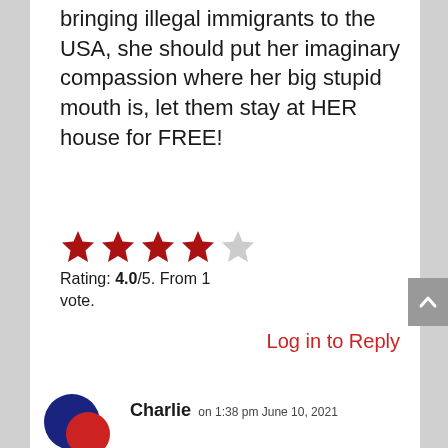bringing illegal immigrants to the USA, she should put her imaginary compassion where her big stupid mouth is, let them stay at HER house for FREE!
[Figure (other): 4 out of 5 stars rating display: four filled red stars and one grey star]
Rating: 4.0/5. From 1 vote.
Log in to Reply
[Figure (illustration): User avatar with overlapping dark blue and red circles]
Charlie on 1:38 pm June 10, 2021